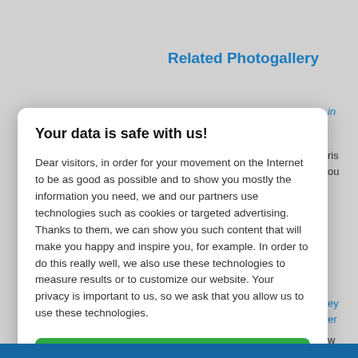Related Photogallery
Your data is safe with us!
Dear visitors, in order for your movement on the Internet to be as good as possible and to show you mostly the information you need, we and our partners use technologies such as cookies or targeted advertising. Thanks to them, we can show you such content that will make you happy and inspire you, for example. In order to do this really well, we also use these technologies to measure results or to customize our website. Your privacy is important to us, so we ask that you allow us to use these technologies.
Accept
Deny
Set